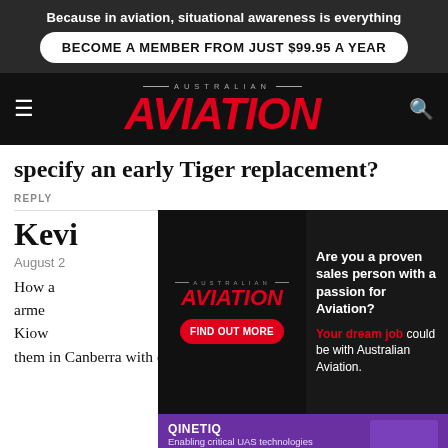Because in aviation, situational awareness is everything
BECOME A MEMBER FROM JUST $99.95 A YEAR
[Figure (logo): Australian Aviation logo with hamburger menu and search icon on dark nav bar]
specify an early Tiger replacement?
REPLY
Kevi
August 2
How a ... single armed ... of 206 Kiowa ... ble them in Canberra with our out-of-work foreign
[Figure (advertisement): Australian Aviation job advertisement overlay: Are you a proven sales person with a passion for Aviation? FIND OUT MORE. Your dream job could be with Australian Aviation. QinetiQ Enabling critical UAS technologies banner at bottom.]